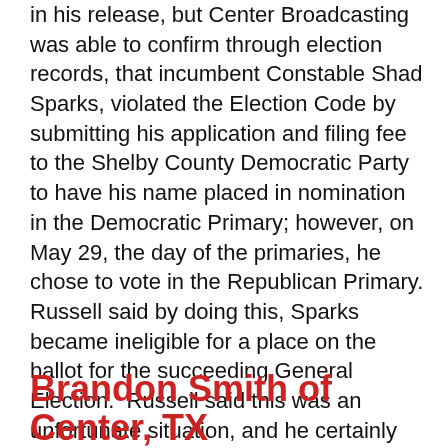in his release, but Center Broadcasting was able to confirm through election records, that incumbent Constable Shad Sparks, violated the Election Code by submitting his application and filing fee to the Shelby County Democratic Party to have his name placed in nomination in the Democratic Primary; however, on May 29, the day of the primaries, he chose to vote in the Republican Primary. Russell said by doing this, Sparks became ineligible for a place on the ballot for the succeeding General Election.  Russell said this was an unfortunate situation, and he certainly sympathized with the candidate. However, this did not happen because of dirty politics, or the personal efforts of another candidate, individual or group to remove this individual from office. Russell went on to say the only individual responsible for this disqualification is the individual himself.
Brandon Smith of Center, TX